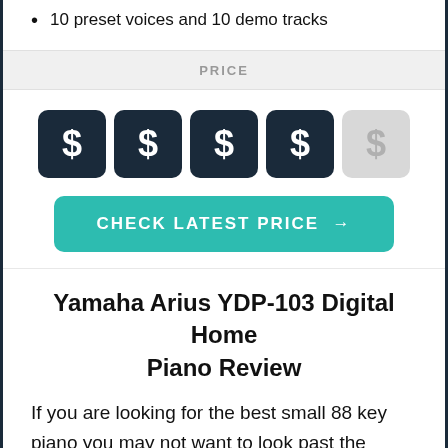10 preset voices and 10 demo tracks
PRICE
[Figure (infographic): Four filled dark navy dollar sign boxes and one grey inactive dollar sign box representing a price rating of 4 out of 5]
CHECK LATEST PRICE →
Yamaha Arius YDP-103 Digital Home Piano Review
If you are looking for the best small 88 key piano you may not want to look past the Yamaha Arius YDP-103 Digital. This is an